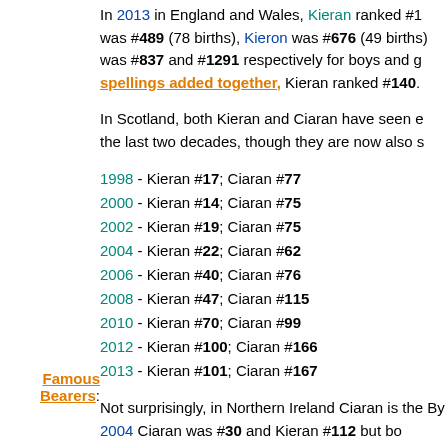In 2013 in England and Wales, Kieran ranked #1 was #489 (78 births), Kieron was #676 (49 births), was #837 and #1291 respectively for boys and g spellings added together, Kieran ranked #140.
In Scotland, both Kieran and Ciaran have seen e the last two decades, though they are now also s
1998 - Kieran #17; Ciaran #77
2000 - Kieran #14; Ciaran #75
2002 - Kieran #19; Ciaran #75
2004 - Kieran #22; Ciaran #62
2006 - Kieran #40; Ciaran #76
2008 - Kieran #47; Ciaran #115
2010 - Kieran #70; Ciaran #99
2012 - Kieran #100; Ciaran #166
2013 - Kieran #101; Ciaran #167
Not surprisingly, in Northern Ireland Ciaran is the By 2004 Ciaran was #30 and Kieran #112 but bo
In the Republic of Ireland, Ciarán has moved fro
Famous Bearers:
History:
* Ciarán of Saigir (5th century–c. 530), Irish sain